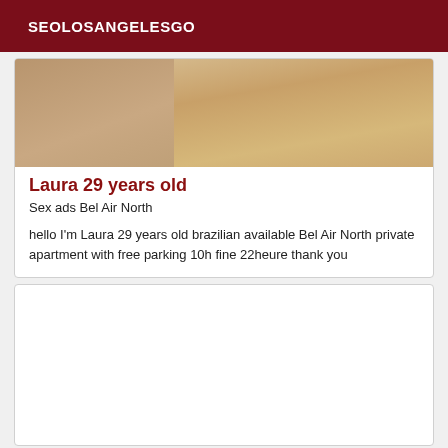SEOLOSANGELESGO
[Figure (photo): Partial photo of a woman, cropped — appears to show torso area, skin tones visible]
Laura 29 years old
Sex ads Bel Air North
hello I'm Laura 29 years old brazilian available Bel Air North private apartment with free parking 10h fine 22heure thank you
[Figure (photo): Empty white card placeholder for a second listing image]